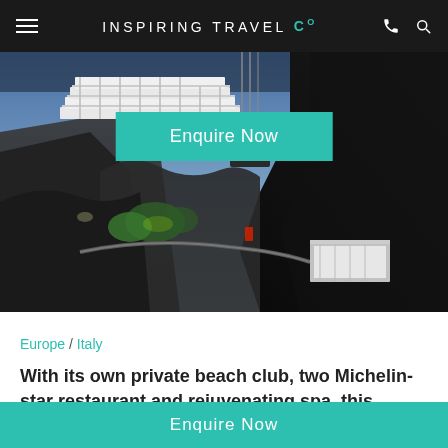INSPIRING TRAVEL Co
[Figure (photo): Clifftop luxury hotel building at dusk with illuminated terraces and glass structures built into rocky cliffs overlooking the sea, Capri, Italy]
Enquire Now
Europe / Italy
With its own private beach club, two Michelin-star restaurant and rejuvenating spa, this luxury hotel certainly knows how a Capri holiday should be done.
Under charismatic proprietorship, Capri Palace Jumeirah is one of the most elite addresses on Capri.
Enquire Now